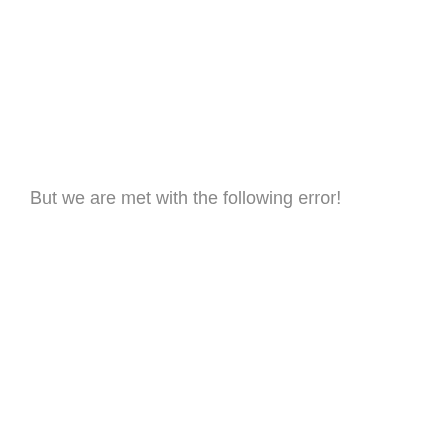But we are met with the following error!
...